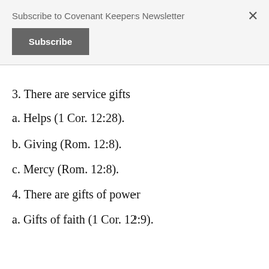Subscribe to Covenant Keepers Newsletter
Subscribe
3. There are service gifts
a. Helps (1 Cor. 12:28).
b. Giving (Rom. 12:8).
c. Mercy (Rom. 12:8).
4. There are gifts of power
a. Gifts of faith (1 Cor. 12:9).